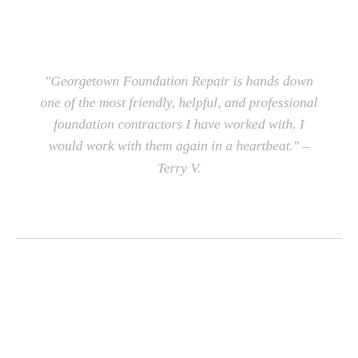“Georgetown Foundation Repair is hands down one of the most friendly, helpful, and professional foundation contractors I have worked with. I would work with them again in a heartbeat.” – Terry V.